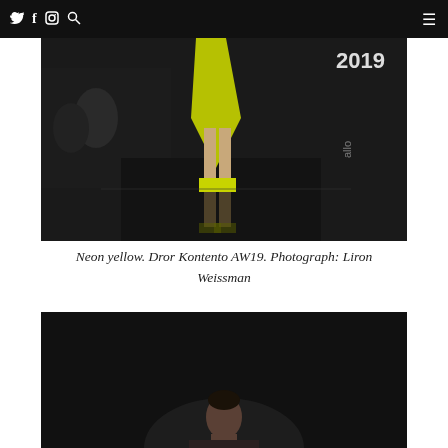Twitter Facebook Instagram Search | Menu
[Figure (photo): Fashion runway photo showing model's legs and feet in yellow neon high heels on a dark reflective runway, with audience in background and '2019' text visible top right. Dror Kontento AW19.]
Neon yellow. Dror Kontento AW19. Photograph: Liron Weissman
[Figure (photo): Fashion runway photo, dark background, model visible from shoulders up walking toward camera. Dror Kontento AW19.]